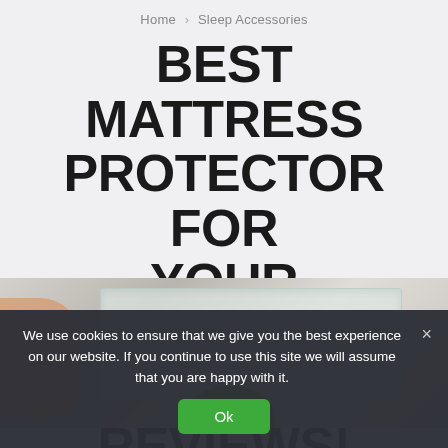Home > Sleep Accessories
BEST MATTRESS PROTECTOR FOR YOUR MATTRESS: TOP 10 REVIEWS!
[Figure (photo): Photo showing a hand touching a mattress protector with a transparent tray on top and a green circular object visible at the bottom]
We use cookies to ensure that we give you the best experience on our website. If you continue to use this site we will assume that you are happy with it.
Ok